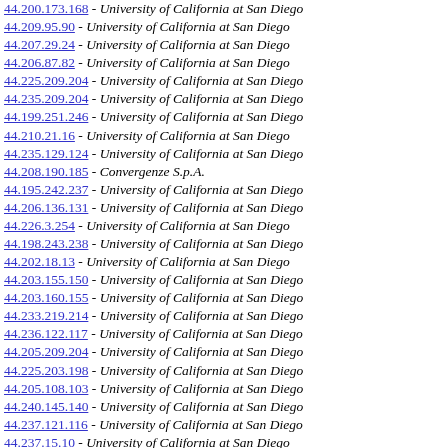44.200.173.168 - University of California at San Diego
44.209.95.90 - University of California at San Diego
44.207.29.24 - University of California at San Diego
44.206.87.82 - University of California at San Diego
44.225.209.204 - University of California at San Diego
44.235.209.204 - University of California at San Diego
44.199.251.246 - University of California at San Diego
44.210.21.16 - University of California at San Diego
44.235.129.124 - University of California at San Diego
44.208.190.185 - Convergenze S.p.A.
44.195.242.237 - University of California at San Diego
44.206.136.131 - University of California at San Diego
44.226.3.254 - University of California at San Diego
44.198.243.238 - University of California at San Diego
44.202.18.13 - University of California at San Diego
44.203.155.150 - University of California at San Diego
44.203.160.155 - University of California at San Diego
44.233.219.214 - University of California at San Diego
44.236.122.117 - University of California at San Diego
44.205.209.204 - University of California at San Diego
44.225.203.198 - University of California at San Diego
44.205.108.103 - University of California at San Diego
44.240.145.140 - University of California at San Diego
44.237.121.116 - University of California at San Diego
44.237.15.10 - University of California at San Diego
44.206.27.22 - University of California at San Diego
44.200.94.89 - University of California at San Diego
44.197.114.109 - University of California at San Diego
44.197.149.144 - University of California at San Diego
44.236.131.126 - University of California at San Diego